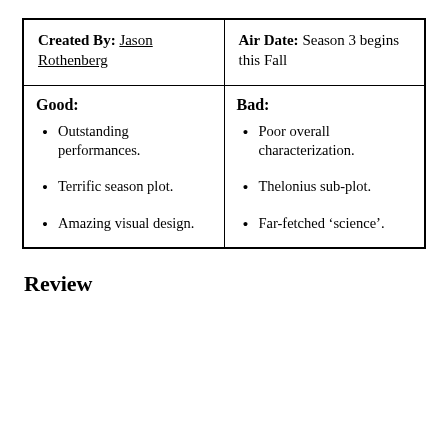| Created By / Air Date |  |
| --- | --- |
| Created By: Jason Rothenberg | Air Date: Season 3 begins this Fall |
| Good:
• Outstanding performances.
• Terrific season plot.
• Amazing visual design. | Bad:
• Poor overall characterization.
• Thelonius sub-plot.
• Far-fetched ‘science’. |
Review